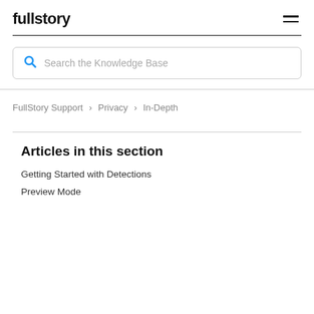fullstory
Search the Knowledge Base
FullStory Support › Privacy › In-Depth
Articles in this section
Getting Started with Detections
Preview Mode